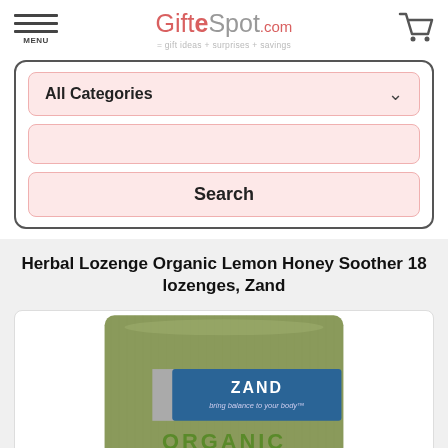GifteSpot.com = gift ideas + surprises + savings
All Categories
Search
Herbal Lozenge Organic Lemon Honey Soother 18 lozenges, Zand
[Figure (photo): Package of Zand Organic Herbal Lozenge Lemon Honey Soother, green packaging with blue label reading ZAND bring balance to your body ORGANIC]